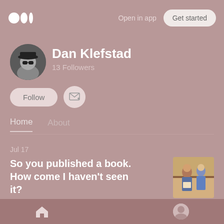Open in app  Get started
[Figure (photo): Medium logo - three dots/circles]
Dan Klefstad
13 Followers
Follow
Home  About
Jul 17
So you published a book. How come I haven't seen it?
[Figure (photo): Thumbnail image of people in a bookstore/library setting]
Book Marketing  4 min read
Home icon and profile icon bottom navigation